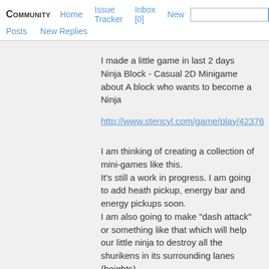COMMUNITY  Home  Issue Tracker  Inbox [0]  New  Posts  New Replies  Search
I made a little game in last 2 days
Ninja Block - Casual 2D Minigame about A block who wants to become a Ninja
http://www.stencyl.com/game/play/42376
I am thinking of creating a collection of mini-games like this.
It's still a work in progress. I am going to add heath pickup, energy bar and energy pickups soon.
I am also going to make "dash attack" or something like that which will help our little ninja to destroy all the shurikens in its surrounding lanes (heights).
Anyways, the game is playable now, and I wanted it to share it with you all guys.